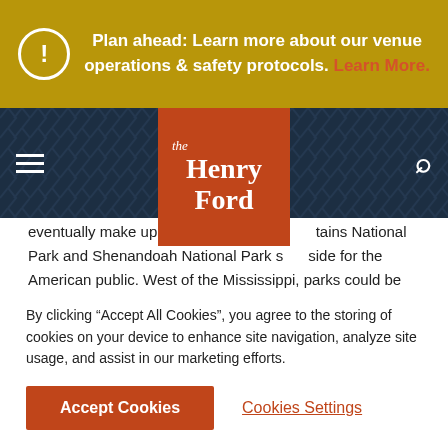Plan ahead: Learn more about our venue operations & safety protocols. Learn More.
[Figure (logo): The Henry Ford museum logo — orange square with italic 'the' and bold 'Henry Ford' in white serif text]
eventually make up the Great Smoky Mountains National Park and Shenandoah National Park set aside for the American public. West of the Mississippi, parks could be easily carved out of large public land holdings. In the East, however, a majority of land was privately held which meant that although these Eastern park projects had been authorized in 1926, they could not be fully established until a majority of the land in the planned areas had been bought by the state and deeded to the U.S. government. Cammerer soon realized that land purchasing financed by state funding and small public donations
By clicking "Accept All Cookies", you agree to the storing of cookies on your device to enhance site navigation, analyze site usage, and assist in our marketing efforts.
Accept Cookies
Cookies Settings